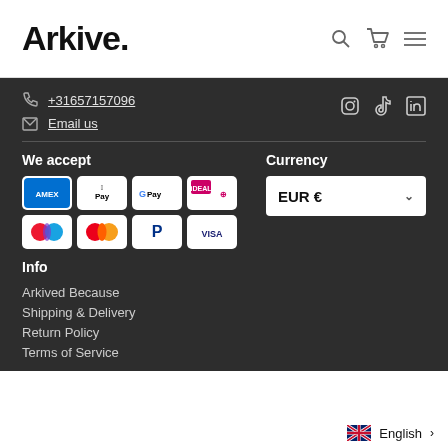Arkive.
+31657157096
Email us
We accept
Currency
EUR €
Info
Arkived Because
Shipping & Delivery
Return Policy
Terms of Service
English